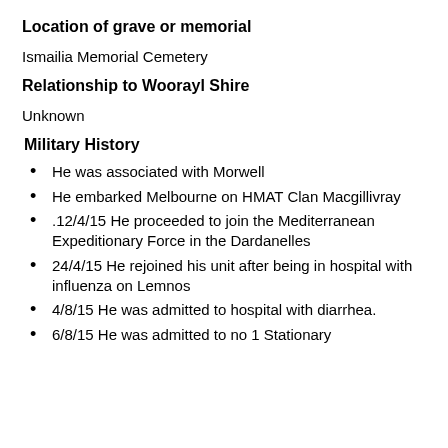Location of grave or memorial
Ismailia Memorial Cemetery
Relationship to Woorayl Shire
Unknown
Military History
He was associated with Morwell
He embarked Melbourne on HMAT Clan Macgillivray
.12/4/15 He proceeded to join the Mediterranean Expeditionary Force in the Dardanelles
24/4/15 He rejoined his unit after being in hospital with influenza on Lemnos
4/8/15 He was admitted to hospital with diarrhea.
6/8/15 He was admitted to no 1 Stationary